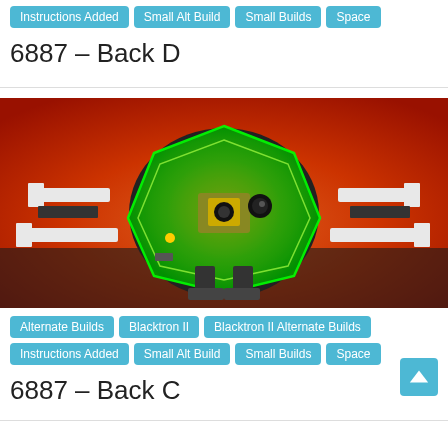Instructions Added
Small Alt Build
Small Builds
Space
6887 – Back D
[Figure (photo): LEGO Blacktron II set 6887 alternate build photo showing a robot/mech model with a large green translucent dome/shield, white and black arms with I-shaped appendages, photographed against a red/orange dramatic background]
Alternate Builds
Blacktron II
Blacktron II Alternate Builds
Instructions Added
Small Alt Build
Small Builds
Space
6887 – Back C